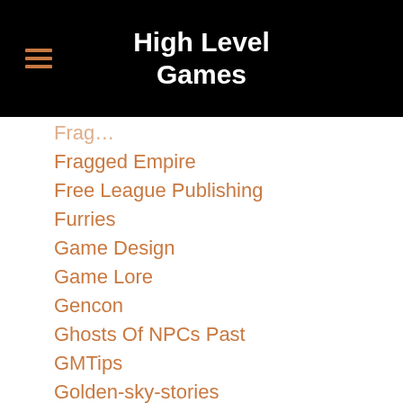High Level Games
Fragged Empire
Free League Publishing
Furries
Game Design
Game Lore
Gencon
Ghosts Of NPCs Past
GMTips
Golden-sky-stories
GoodmanGames.com
Grognards
GUMSHOE
GURPS
GURPS Lite
Halloween